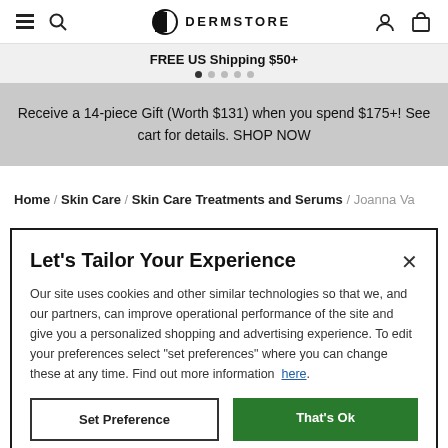DERMSTORE navigation bar with hamburger, search, logo, user and cart icons
FREE US Shipping $50+
Receive a 14-piece Gift (Worth $131) when you spend $175+! See cart for details. SHOP NOW
Home / Skin Care / Skin Care Treatments and Serums / Joanna Va...
Let's Tailor Your Experience
Our site uses cookies and other similar technologies so that we, and our partners, can improve operational performance of the site and give you a personalized shopping and advertising experience. To edit your preferences select "set preferences" where you can change these at any time. Find out more information here.
Set Preference
That's Ok